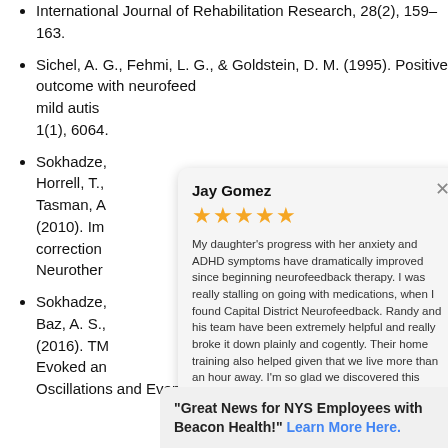International Journal of Rehabilitation Research, 28(2), 159–163.
Sichel, A. G., Fehmi, L. G., & Goldstein, D. M. (1995). Positive outcome with neurofeedback treatment in a case of mild autism... 1(1), 6064.
Sokhadze, ..., Horrell, T., ..., Tasman, A. ... (2010). Improvement... correction... Neurother...
Sokhadze, ..., Baz, A. S., ... (2016). TM... Evoked and... Oscillations and Event-related
[Figure (other): Google review card overlay from Jay Gomez with 5 stars. Review text: My daughter's progress with her anxiety and ADHD symptoms have dramatically improved since beginning neurofeedback therapy. I was really stalling on going with medications, when I found Capital District Neurofeedback. Randy and his team have been extremely helpful and really broke it down plainly and cogently. Their home training also helped given that we live more than an hour away. I'm so glad we discovered this therapy! Posted on Google.]
"Great News for NYS Employees with Beacon Health!" Learn More Here.